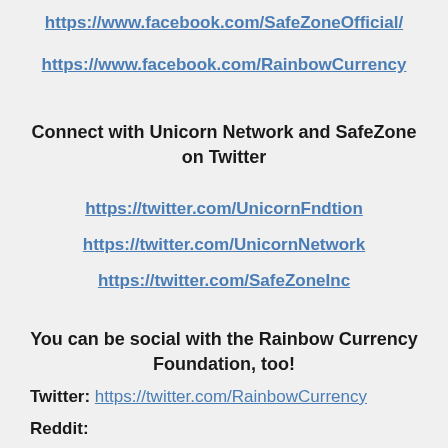https://www.facebook.com/SafeZoneOfficial/
https://www.facebook.com/RainbowCurrency
Connect with Unicorn Network and SafeZone on Twitter
https://twitter.com/UnicornFndtion
https://twitter.com/UnicornNetwork
https://twitter.com/SafeZoneInc
You can be social with the Rainbow Currency Foundation, too!
Twitter: https://twitter.com/RainbowCurrency
Reddit: https://www.reddit.com/r/RainbowCurrency/